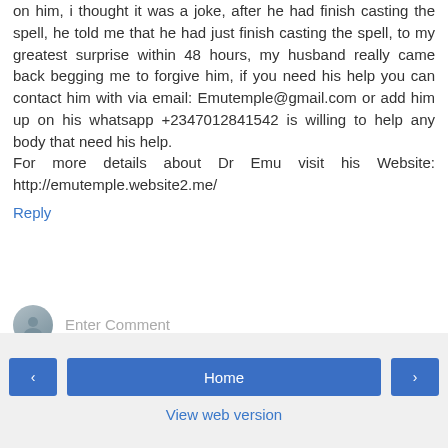on him, i thought it was a joke, after he had finish casting the spell, he told me that he had just finish casting the spell, to my greatest surprise within 48 hours, my husband really came back begging me to forgive him, if you need his help you can contact him with via email: Emutemple@gmail.com or add him up on his whatsapp +2347012841542 is willing to help any body that need his help.
For more details about Dr Emu visit his Website: http://emutemple.website2.me/
Reply
Enter Comment
Home | View web version